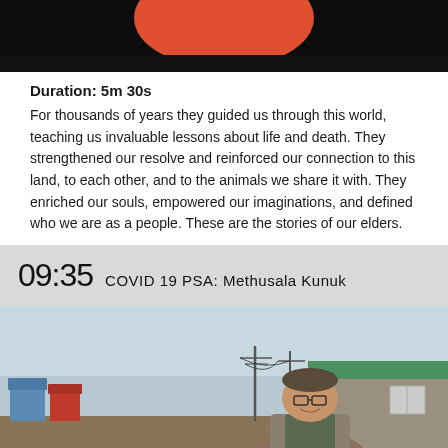[Figure (photo): Top portion of a video thumbnail showing a dark background with an orange/red shape at top center]
Duration: 5m 30s
For thousands of years they guided us through this world, teaching us invaluable lessons about life and death. They strengthened our resolve and reinforced our connection to this land, to each other, and to the animals we share it with. They enriched our souls, empowered our imaginations, and defined who we are as a people. These are the stories of our elders.
09:35 COVID 19 PSA: Methusala Kunuk
[Figure (photo): Outdoor photo of a middle-aged man standing in front of a building with a green metal roof in an Arctic community setting with utility poles and colorful houses visible in the background]